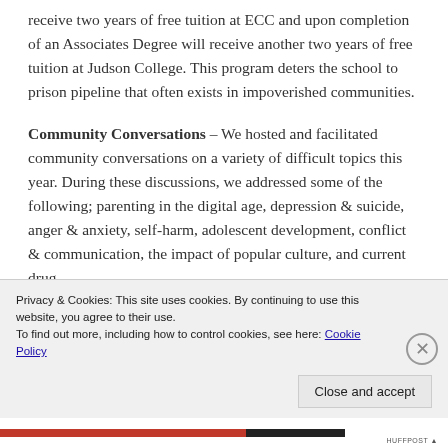receive two years of free tuition at ECC and upon completion of an Associates Degree will receive another two years of free tuition at Judson College. This program deters the school to prison pipeline that often exists in impoverished communities.
Community Conversations – We hosted and facilitated community conversations on a variety of difficult topics this year. During these discussions, we addressed some of the following; parenting in the digital age, depression & suicide, anger & anxiety, self-harm, adolescent development, conflict & communication, the impact of popular culture, and current drug
Privacy & Cookies: This site uses cookies. By continuing to use this website, you agree to their use.
To find out more, including how to control cookies, see here: Cookie Policy
Close and accept